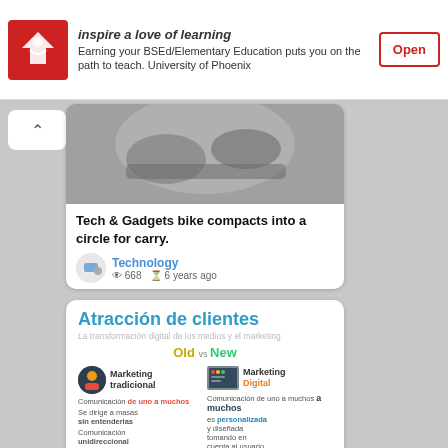[Figure (screenshot): Ad banner for University of Phoenix BSEd/Elementary Education with red logo, text and Open button]
inspire a love of learning
Earning your BSEd/Elementary Education puts you on the path to teach. University of Phoenix
Open
[Figure (photo): Tech gadget image showing bike compact, grayscale photo]
Tech & Gadgets bike compacts into a circle for carry.
Technology
668  6 years ago
[Figure (infographic): Atracción de clientes infographic comparing Marketing tradicional (Old) vs Marketing Digital (New). La transformación digital de los medios y el marketing. Old vs New. Marketing tradicional: Comunicación de uno a muchos, Se dirige a masas sin entenderlas, Comunicación unidireccional, Se enfoca más en construir marca que en comunicar, El consumidor es un target. Marketing Digital: Comunicación de uno a muchos a muchos, es personalizada y diseñada tomando en cuenta al usuario, Tiene un diálogo con el usuario, Se enfoca más en comunicar que en la marca, Su propósito principal es crear comunidad.]